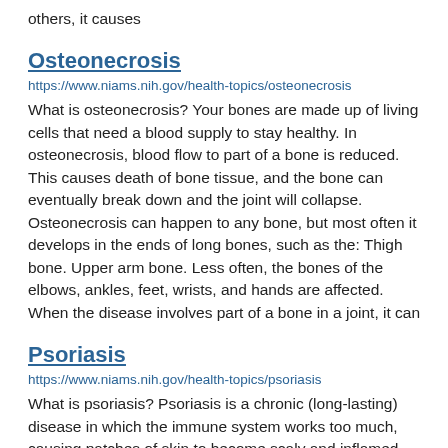others, it causes
Osteonecrosis
https://www.niams.nih.gov/health-topics/osteonecrosis
What is osteonecrosis? Your bones are made up of living cells that need a blood supply to stay healthy. In osteonecrosis, blood flow to part of a bone is reduced. This causes death of bone tissue, and the bone can eventually break down and the joint will collapse. Osteonecrosis can happen to any bone, but most often it develops in the ends of long bones, such as the: Thigh bone. Upper arm bone. Less often, the bones of the elbows, ankles, feet, wrists, and hands are affected. When the disease involves part of a bone in a joint, it can
Psoriasis
https://www.niams.nih.gov/health-topics/psoriasis
What is psoriasis? Psoriasis is a chronic (long-lasting) disease in which the immune system works too much, causing patches of skin to become scaly and inflamed. Most often, psoriasis affects the: Scalp. Elbows. Knees. The symptoms of psoriasis can sometimes go through cycles, flaring for a few weeks or months followed by times when they subside (or go into remission). If you have psoriasis, you